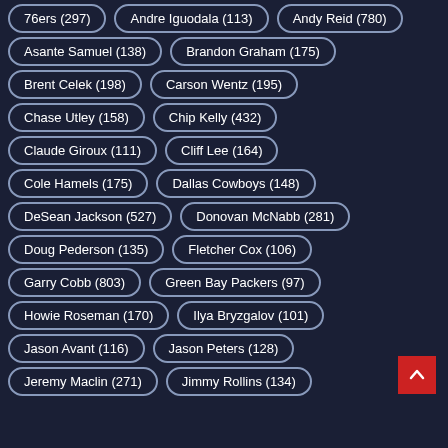76ers (297)
Andre Iguodala (113)
Andy Reid (780)
Asante Samuel (138)
Brandon Graham (175)
Brent Celek (198)
Carson Wentz (195)
Chase Utley (158)
Chip Kelly (432)
Claude Giroux (111)
Cliff Lee (164)
Cole Hamels (175)
Dallas Cowboys (148)
DeSean Jackson (527)
Donovan McNabb (281)
Doug Pederson (135)
Fletcher Cox (106)
Garry Cobb (803)
Green Bay Packers (97)
Howie Roseman (170)
Ilya Bryzgalov (101)
Jason Avant (116)
Jason Peters (128)
Jeremy Maclin (271)
Jimmy Rollins (134)